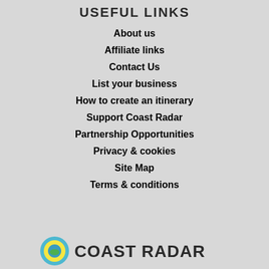USEFUL LINKS
About us
Affiliate links
Contact Us
List your business
How to create an itinerary
Support Coast Radar
Partnership Opportunities
Privacy & cookies
Site Map
Terms & conditions
[Figure (logo): Coast Radar logo with colorful circular emblem and bold text]